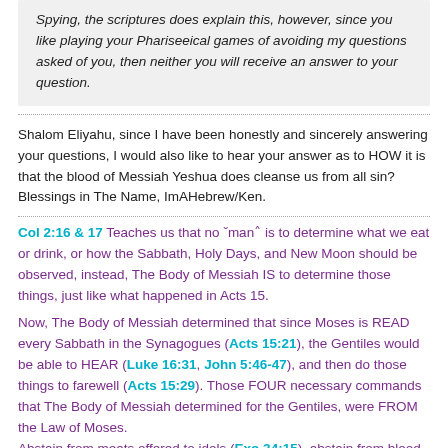Spying, the scriptures does explain this, however, since you like playing your Phariseeical games of avoiding my questions asked of you, then neither you will receive an answer to your question.
Shalom Eliyahu, since I have been honestly and sincerely answering your questions, I would also like to hear your answer as to HOW it is that the blood of Messiah Yeshua does cleanse us from all sin? Blessings in The Name, ImAHebrew/Ken.
Col 2:16 & 17 Teaches us that no 'man' is to determine what we eat or drink, or how the Sabbath, Holy Days, and New Moon should be observed, instead, The Body of Messiah IS to determine those things, just like what happened in Acts 15.
Now, The Body of Messiah determined that since Moses is READ every Sabbath in the Synagogues (Acts 15:21), the Gentiles would be able to HEAR (Luke 16:31, John 5:46-47), and then do those things to farewell (Acts 15:29). Those FOUR necessary commands that The Body of Messiah determined for the Gentiles, were FROM the Law of Moses.
Abstain from meats offered to idols (Exo 34:15), abstain from blood (Lev 17:14), abstain from things strangled (Deu 12:23), and abstain from fornication (Lev 19:29).
So do not let anyone deceive you into believing falsely about the Law of Moses.